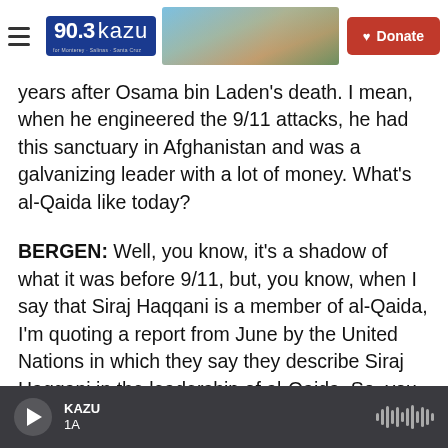90.3 KAZU — Donate
years after Osama bin Laden's death. I mean, when he engineered the 9/11 attacks, he had this sanctuary in Afghanistan and was a galvanizing leader with a lot of money. What's al-Qaida like today?
BERGEN: Well, you know, it's a shadow of what it was before 9/11, but, you know, when I say that Siraj Haqqani is a member of al-Qaida, I'm quoting a report from June by the United Nations in which they say they describe Siraj Haqqani in the leadership of al-Qaida. So, you know, al-Qaida has got a new lease of life. And the U.N. report, again,
KAZU 1A